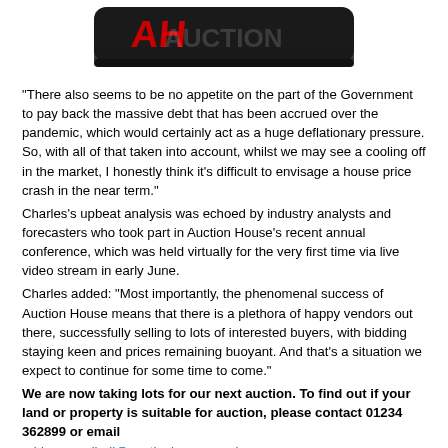[Figure (logo): Auction House logo partially visible at top — black and red graphic with bold text, partially cropped]
"There also seems to be no appetite on the part of the Government to pay back the massive debt that has been accrued over the pandemic, which would certainly act as a huge deflationary pressure. So, with all of that taken into account, whilst we may see a cooling off in the market, I honestly think it's difficult to envisage a house price crash in the near term."
Charles's upbeat analysis was echoed by industry analysts and forecasters who took part in Auction House's recent annual conference, which was held virtually for the very first time via live video stream in early June.
Charles added: "Most importantly, the phenomenal success of Auction House means that there is a plethora of happy vendors out there, successfully selling to lots of interested buyers, with bidding staying keen and prices remaining buoyant. And that's a situation we expect to continue for some time to come."
We are now taking lots for our next auction. To find out if your land or property is suitable for auction, please contact 01234 362899 or email robinsonandhall@auctionhouse.co.uk